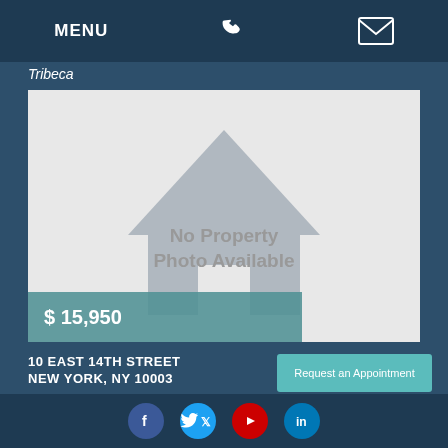MENU
Tribeca
[Figure (illustration): Placeholder image showing a grey house silhouette icon with text 'No Property Photo Available' and a price overlay showing '$15,950']
10 EAST 14TH STREET
NEW YORK, NY 10003
Request an Appointment
Social media icons: Facebook, Twitter, YouTube, LinkedIn